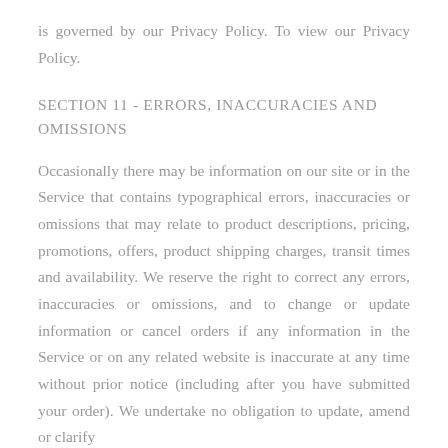is governed by our Privacy Policy. To view our Privacy Policy.
SECTION 11 - ERRORS, INACCURACIES AND OMISSIONS
Occasionally there may be information on our site or in the Service that contains typographical errors, inaccuracies or omissions that may relate to product descriptions, pricing, promotions, offers, product shipping charges, transit times and availability. We reserve the right to correct any errors, inaccuracies or omissions, and to change or update information or cancel orders if any information in the Service or on any related website is inaccurate at any time without prior notice (including after you have submitted your order). We undertake no obligation to update, amend or clarify